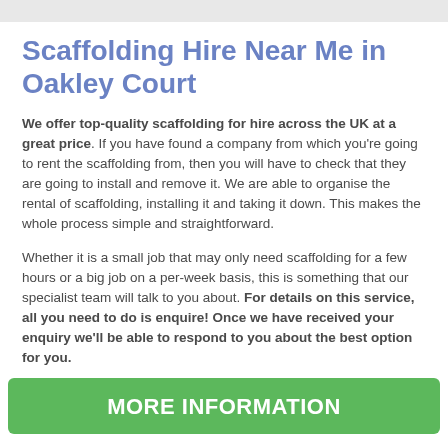Scaffolding Hire Near Me in Oakley Court
We offer top-quality scaffolding for hire across the UK at a great price. If you have found a company from which you're going to rent the scaffolding from, then you will have to check that they are going to install and remove it. We are able to organise the rental of scaffolding, installing it and taking it down. This makes the whole process simple and straightforward.
Whether it is a small job that may only need scaffolding for a few hours or a big job on a per-week basis, this is something that our specialist team will talk to you about. For details on this service, all you need to do is enquire! Once we have received your enquiry we'll be able to respond to you about the best option for you.
MORE INFORMATION